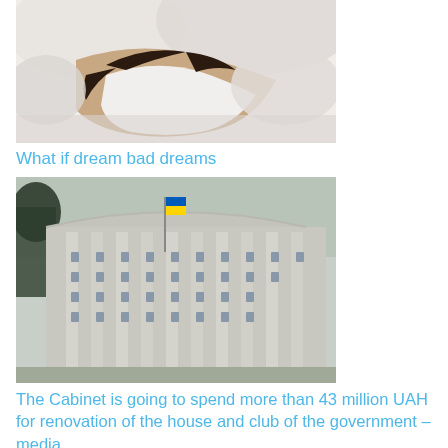[Figure (photo): Person lying face-down in bed covered with white pillows and bedding, dark hair visible]
What if dream bad dreams
[Figure (photo): Large white government building with columns and a Ukrainian flag in front, surrounded by trees]
The Cabinet is going to spend more than 43 million UAH for renovation of the house and club of the government – media